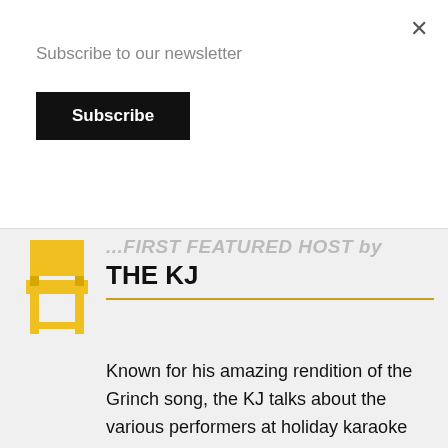Subscribe to our newsletter
Subscribe
×
THE KJ
Known for his amazing rendition of the Grinch song, the KJ talks about the various performers at holiday karaoke and lets us know that ONE karaoke tune he better not hear being done. This guy puts it all together and makes for a family fun night in Market Square. Top of the Line Entertainment